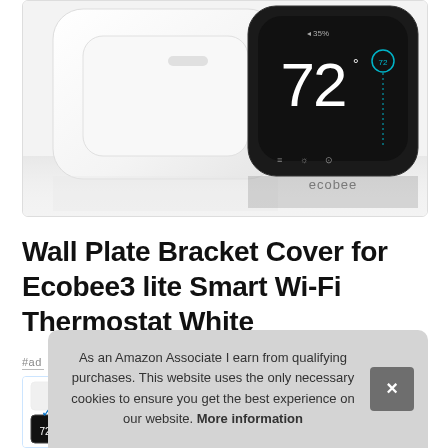[Figure (photo): Product photo showing a white wall plate bracket cover and a black Ecobee3 lite smart thermostat displaying the number 72 on its screen]
Wall Plate Bracket Cover for Ecobee3 lite Smart Wi-Fi Thermostat White
#ad
As an Amazon Associate I earn from qualifying purchases. This website uses the only necessary cookies to ensure you get the best experience on our website. More information